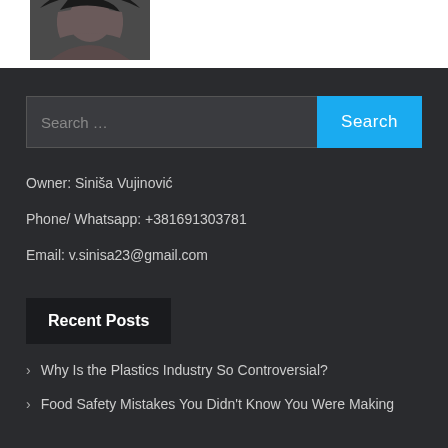[Figure (photo): Partial image of a person with dark hair, cropped at top of page]
Search …
Owner: Siniša Vujinović
Phone/ Whatsapp: +381691303781
Email: v.sinisa23@gmail.com
Recent Posts
Why Is the Plastics Industry So Controversial?
Food Safety Mistakes You Didn't Know You Were Making